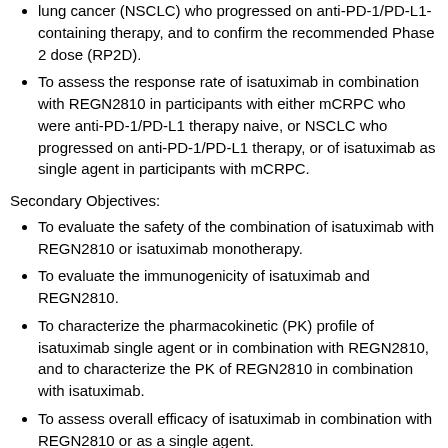lung cancer (NSCLC) who progressed on anti-PD-1/PD-L1-containing therapy, and to confirm the recommended Phase 2 dose (RP2D).
To assess the response rate of isatuximab in combination with REGN2810 in participants with either mCRPC who were anti-PD-1/PD-L1 therapy naive, or NSCLC who progressed on anti-PD-1/PD-L1 therapy, or of isatuximab as single agent in participants with mCRPC.
Secondary Objectives:
To evaluate the safety of the combination of isatuximab with REGN2810 or isatuximab monotherapy.
To evaluate the immunogenicity of isatuximab and REGN2810.
To characterize the pharmacokinetic (PK) profile of isatuximab single agent or in combination with REGN2810, and to characterize the PK of REGN2810 in combination with isatuximab.
To assess overall efficacy of isatuximab in combination with REGN2810 or as a single agent.